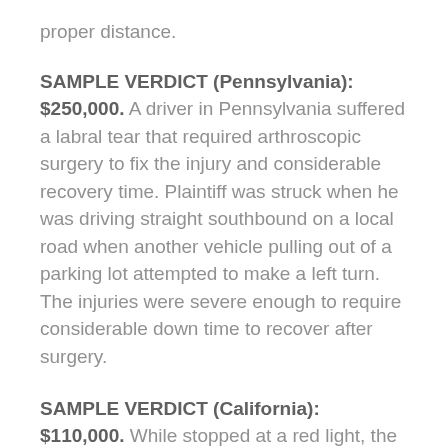proper distance.
SAMPLE VERDICT (Pennsylvania): $250,000. A driver in Pennsylvania suffered a labral tear that required arthroscopic surgery to fix the injury and considerable recovery time. Plaintiff was struck when he was driving straight southbound on a local road when another vehicle pulling out of a parking lot attempted to make a left turn. The injuries were severe enough to require considerable down time to recover after surgery.
SAMPLE VERDICT (California): $110,000. While stopped at a red light, the plaintiff was hit by another vehicle that failed to